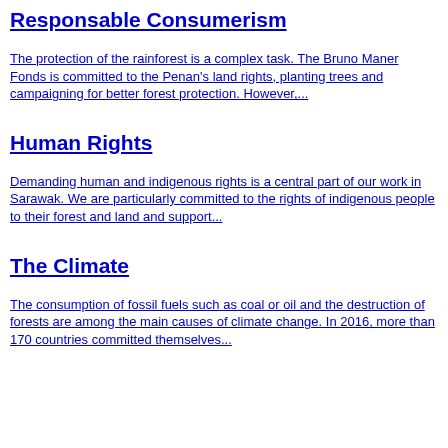Responsable Consumerism
The protection of the rainforest is a complex task. The Bruno Maner Fonds is committed to the Penan's land rights, planting trees and campaigning for better forest protection. However,...
Human Rights
Demanding human and indigenous rights is a central part of our work in Sarawak. We are particularly committed to the rights of indigenous people to their forest and land and support...
The Climate
The consumption of fossil fuels such as coal or oil and the destruction of forests are among the main causes of climate change. In 2016, more than 170 countries committed themselves...